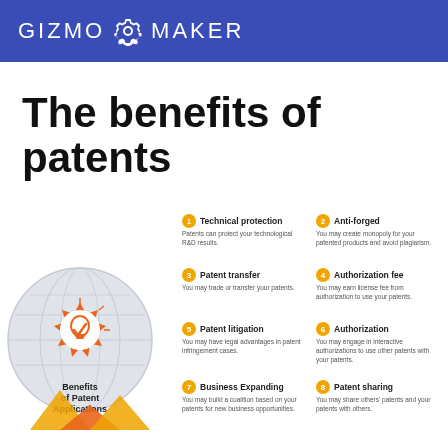GIZMO G MAKER
The benefits of patents
[Figure (infographic): Infographic showing 'Benefits of Patent Applications' with a globe and award ribbon icon on the left, and 8 numbered benefit items on the right in two columns: 1. Technical protection, 2. Anti-forged, 3. Patent transfer, 4. Authorization fee, 5. Patent litigation, 6. Authorization, 7. Business Expanding, 8. Patent sharing]
1 Technical protection - Patents can protect your technological R&D results.
2 Anti-forged - You may create monopoly for your patented products and avoid plagiarism.
3 Patent transfer - You may trade or transfer your patents.
4 Authorization fee - You may earn license fee from authorization to use your patents.
5 Patent litigation - You may have legal advantages in patent infringement cases.
6 Authorization - You may engage in interactive authorizations to use other patents with your patents.
7 Business Expanding - You may build a coalition based on your patents for new business opportunities.
8 Patent sharing - You may share others' patents and your patents with others.